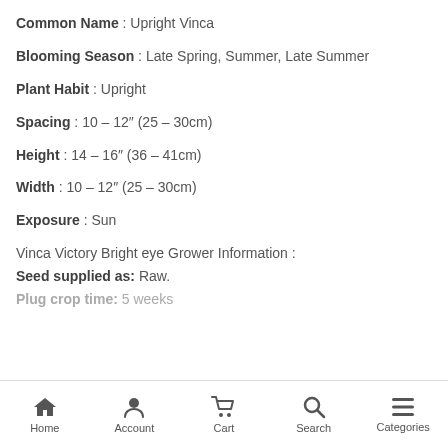Common Name : Upright Vinca
Blooming Season : Late Spring, Summer, Late Summer
Plant Habit : Upright
Spacing : 10 – 12″ (25 – 30cm)
Height : 14 – 16″ (36 – 41cm)
Width : 10 – 12″ (25 – 30cm)
Exposure : Sun
Vinca Victory Bright eye Grower Information :
Seed supplied as: Raw.
Plug crop time: 5 weeks
Home   Account   Cart   Search   Categories